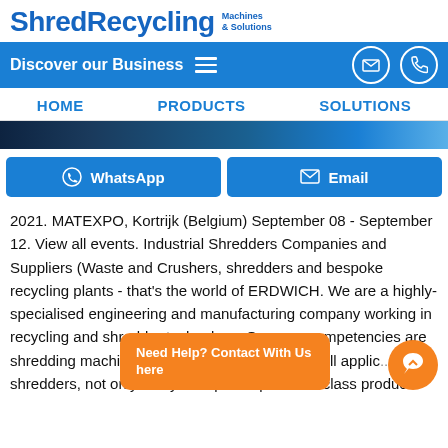ShredRecycling Machines & Solutions
Discover our Business
HOME   PRODUCTS   SOLUTIONS
[Figure (photo): Industrial shredding machinery hero image strip]
WhatsApp   Email
2021. MATEXPO, Kortrijk (Belgium) September 08 - September 12. View all events. Industrial Shredders Companies and Suppliers (Waste and Crushers, shredders and bespoke recycling plants - that's the world of ERDWICH. We are a highly-specialised engineering and manufacturing company working in recycling and shredder technology. Our core competencies are shredding machinery, turnkey ... Shredders for all applic... paper shredders, not only can you expect a premium-class product from HSM, you can also be sure of quality at the
Need Help? Contact With Us here